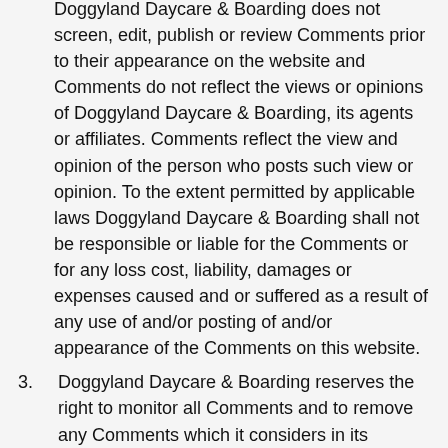Doggyland Daycare & Boarding does not screen, edit, publish or review Comments prior to their appearance on the website and Comments do not reflect the views or opinions of Doggyland Daycare & Boarding, its agents or affiliates. Comments reflect the view and opinion of the person who posts such view or opinion. To the extent permitted by applicable laws Doggyland Daycare & Boarding shall not be responsible or liable for the Comments or for any loss cost, liability, damages or expenses caused and or suffered as a result of any use of and/or posting of and/or appearance of the Comments on this website.
3. Doggyland Daycare & Boarding reserves the right to monitor all Comments and to remove any Comments which it considers in its absolute discretion to be inappropriate, offensive or otherwise in breach of these Terms and Conditions.
4. You warrant and represent that:
You are entitled to post the Comments on our website and have all necessary licenses and